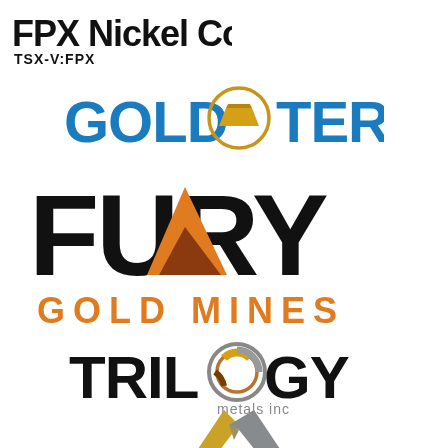[Figure (logo): FPX Nickel Corp. logo with TSX-V:FPX ticker]
[Figure (logo): Gold Terra logo in blue and gold with circular gold bar emblem]
[Figure (logo): Fury Gold Mines logo with large black FURY text and orange/brown triangle accent, GOLD MINES in orange text]
[Figure (logo): Trilogy Metals Inc logo with stylized O containing yellow, grey, copper spiral]
[Figure (logo): Partial gold/silver chevron/mountain logo at bottom]